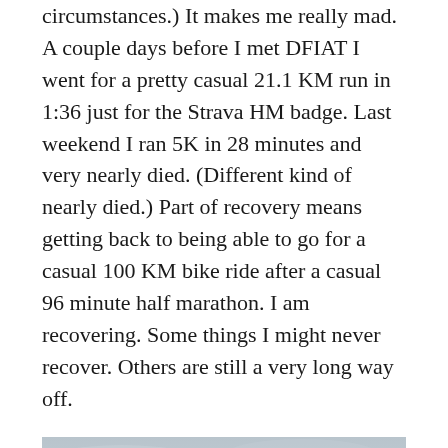circumstances.) It makes me really mad. A couple days before I met DFIAT I went for a pretty casual 21.1 KM run in 1:36 just for the Strava HM badge. Last weekend I ran 5K in 28 minutes and very nearly died. (Different kind of nearly died.) Part of recovery means getting back to being able to go for a casual 100 KM bike ride after a casual 96 minute half marathon. I am recovering. Some things I might never recover. Others are still a very long way off.
[Figure (photo): Outdoor photo of a rocky pinnacle or cliff with a small tree growing on top, against an overcast grey sky.]